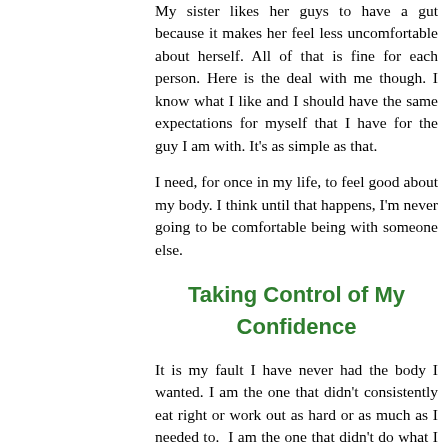My sister likes her guys to have a gut because it makes her feel less uncomfortable about herself. All of that is fine for each person. Here is the deal with me though. I know what I like and I should have the same expectations for myself that I have for the guy I am with. It's as simple as that.
I need, for once in my life, to feel good about my body. I think until that happens, I'm never going to be comfortable being with someone else.
Taking Control of My Confidence
It is my fault I have never had the body I wanted. I am the one that didn't consistently eat right or work out as hard or as much as I needed to.  I am the one that didn't do what I needed to do to have that body. I need to do that now. But how? How do I overcome the apprehension of going to the gym?  Or get myself to find the time. Exercise at home. Ride my bike. There has to be a way to motivate myself on a daily basis to do what I need to do to have what I want to have.  So here is the deal… I am going to try a number of different tips and tactics to get myself motivated to work out.  The first is…